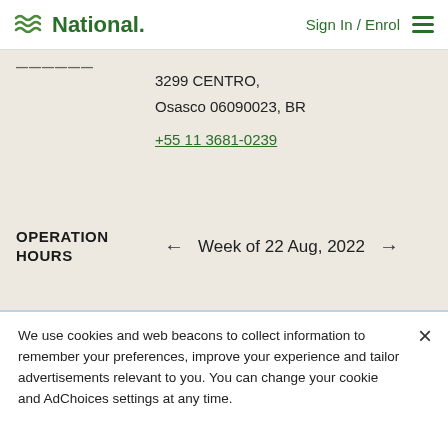National. | Sign In / Enrol
3299 CENTRO,
Osasco 06090023, BR
+55 11 3681-0239
OPERATION HOURS
← Week of 22 Aug, 2022 →
We use cookies and web beacons to collect information to remember your preferences, improve your experience and tailor advertisements relevant to you. You can change your cookie and AdChoices settings at any time.